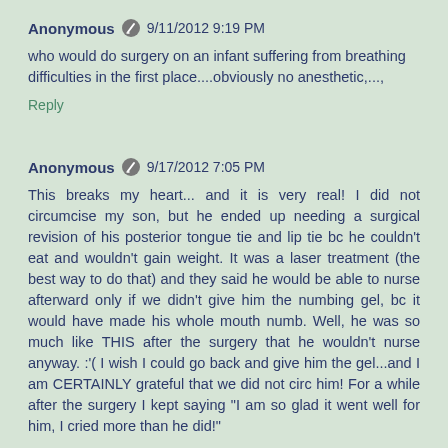Anonymous  9/11/2012 9:19 PM
who would do surgery on an infant suffering from breathing difficulties in the first place....obviously no anesthetic,...,
Reply
Anonymous  9/17/2012 7:05 PM
This breaks my heart... and it is very real! I did not circumcise my son, but he ended up needing a surgical revision of his posterior tongue tie and lip tie bc he couldn't eat and wouldn't gain weight. It was a laser treatment (the best way to do that) and they said he would be able to nurse afterward only if we didn't give him the numbing gel, bc it would have made his whole mouth numb. Well, he was so much like THIS after the surgery that he wouldn't nurse anyway. :'( I wish I could go back and give him the gel...and I am CERTAINLY grateful that we did not circ him! For a while after the surgery I kept saying "I am so glad it went well for him, I cried more than he did!"